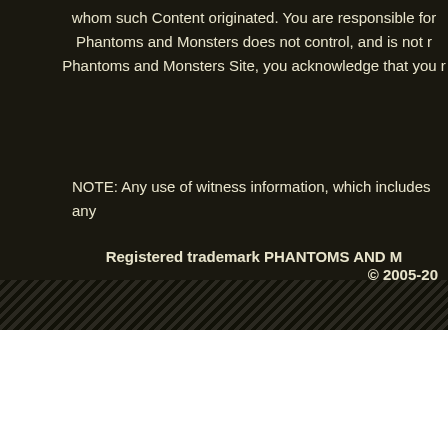whom such Content originated. You are responsible for Phantoms and Monsters does not control, and is not r Phantoms and Monsters Site, you acknowledge that you r
NOTE: Any use of witness information, which includes any
Registered trademark PHANTOMS AND M
© 2005-20